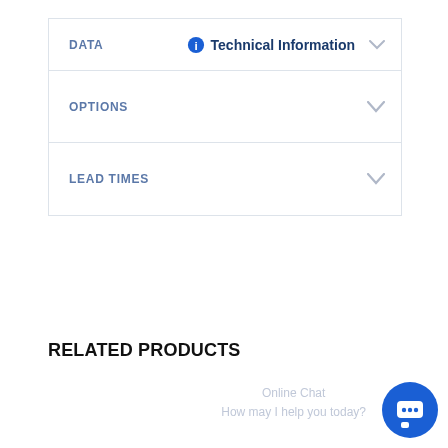Technical Information
DATA
OPTIONS
LEAD TIMES
RELATED PRODUCTS
Online Chat
How may I help you today?